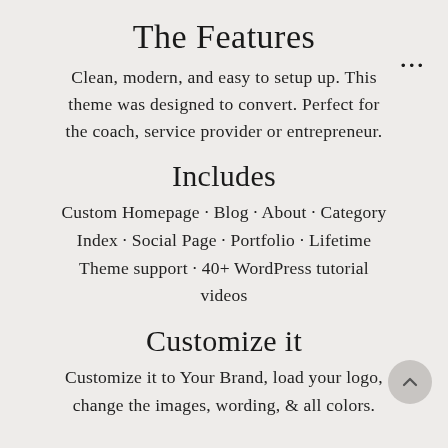The Features
Clean, modern, and easy to setup up. This theme was designed to convert. Perfect for the coach, service provider or entrepreneur.
Includes
Custom Homepage · Blog · About · Category Index · Social Page · Portfolio · Lifetime Theme support · 40+ WordPress tutorial videos
Customize it
Customize it to Your Brand, load your logo, change the images, wording, & all colors.